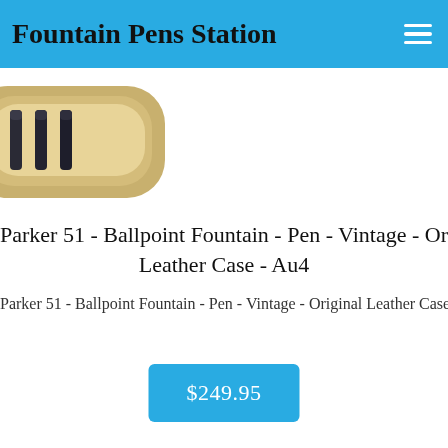Fountain Pens Station
[Figure (photo): Partial view of a vintage leather pen case with dark fountain pens inside, cropped at left edge]
Parker 51 - Ballpoint Fountain - Pen - Vintage - Original Leather Case - Au4
Parker 51 - Ballpoint Fountain - Pen - Vintage - Original Leather Case - Au
$249.95